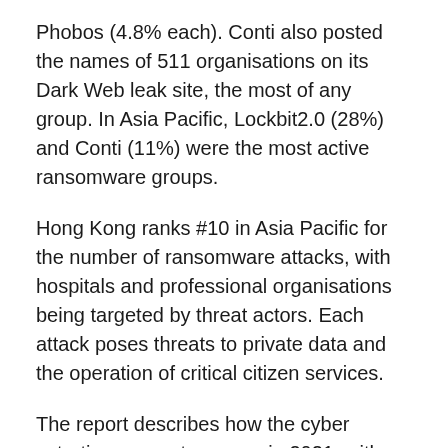Phobos (4.8% each). Conti also posted the names of 511 organisations on its Dark Web leak site, the most of any group. In Asia Pacific, Lockbit2.0 (28%) and Conti (11%) were the most active ransomware groups.
Hong Kong ranks #10 in Asia Pacific for the number of ransomware attacks, with hospitals and professional organisations being targeted by threat actors. Each attack poses threats to private data and the operation of critical citizen services.
The report describes how the cyber extortion ecosystem grew in 2021, with the emergence of 35 new ransomware gangs. It documents how criminal enterprises invested windfall profits into creating tools that are easier to use in attacks that increasingly leverage zero-day vulnerabilities.
The number of victims whose data was posted on